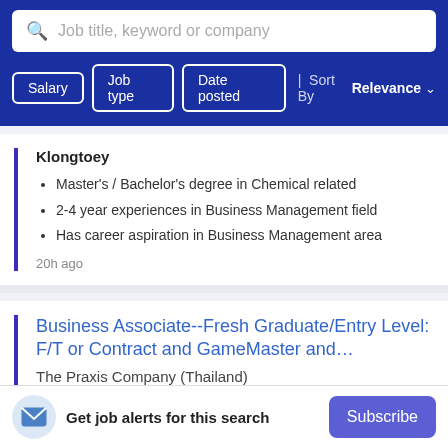Job title, keyword or company
Salary
Job type
Date posted
Sort By Relevance
Klongtoey
Master's / Bachelor's degree in Chemical related
2-4 year experiences in Business Management field
Has career aspiration in Business Management area
20h ago
Business Associate--Fresh Graduate/Entry Level: F/T or Contract and GameMaster and…
The Praxis Company (Thailand)
Get job alerts for this search
Subscribe